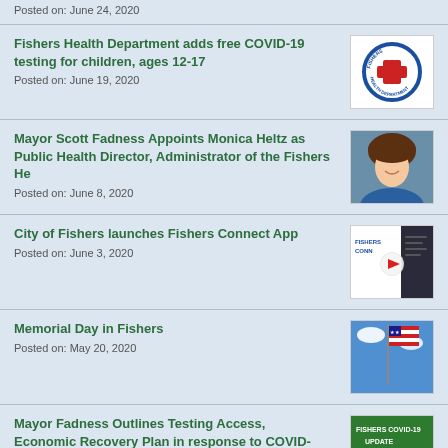Posted on: June 24, 2020
Fishers Health Department adds free COVID-19 testing for children, ages 12-17
Posted on: June 19, 2020
[Figure (logo): Fishers Health Department circular logo with red cross]
Mayor Scott Fadness Appoints Monica Heltz as Public Health Director, Administrator of the Fishers He
Posted on: June 8, 2020
[Figure (photo): Photo of Monica Heltz, a woman with brown hair smiling]
City of Fishers launches Fishers Connect App
Posted on: June 3, 2020
[Figure (screenshot): Fishers Connect app promotional image with play button]
Memorial Day in Fishers
Posted on: May 20, 2020
[Figure (photo): American flag against blue sky]
Mayor Fadness Outlines Testing Access, Economic Recovery Plan in response to COVID-
[Figure (photo): Fishers COVID-19 Update green banner]